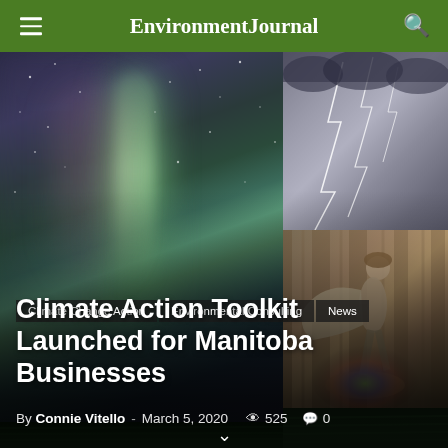Environment Journal
[Figure (photo): Composite background: aurora borealis on the left, lightning storm top right, person walking in wind middle right, green crop field bottom right]
Climate Change Action   Environmental Consulting   News
Climate Action Toolkit Launched for Manitoba Businesses
By Connie Vitello - March 5, 2020   👁 525   💬 0